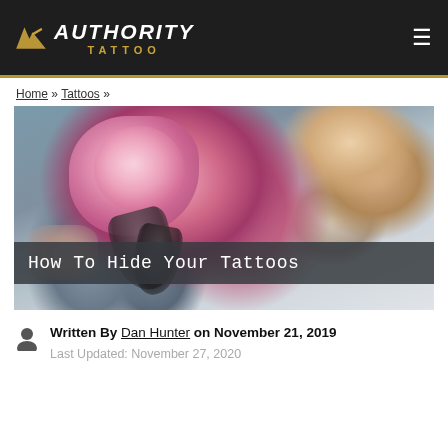AUTHORITY TATTOO
Home » Tattoos »
[Figure (photo): Close-up photo of a person's neck and shoulder area showing a large pink rose tattoo on the shoulder and dark feather/leaf tattoo on the neck, with cursive script tattoo on the arm. The article title 'How To Hide Your Tattoos' is overlaid on the image.]
How To Hide Your Tattoos
Written By Dan Hunter on November 21, 2019
Last Updated: November 27, 2020